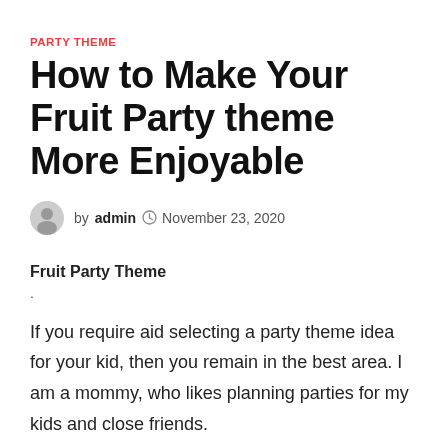PARTY THEME
How to Make Your Fruit Party theme More Enjoyable
by admin  November 23, 2020
Fruit Party Theme
.
If you require aid selecting a party theme idea for your kid, then you remain in the best area. I am a mommy, who likes planning parties for my kids and close friends.